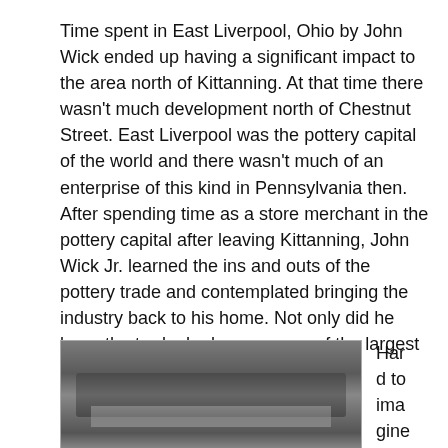Time spent in East Liverpool, Ohio by John Wick ended up having a significant impact to the area north of Kittanning. At that time there wasn't much development north of Chestnut Street. East Liverpool was the pottery capital of the world and there wasn't much of an enterprise of this kind in Pennsylvania then. After spending time as a store merchant in the pottery capital after leaving Kittanning, John Wick Jr. learned the ins and outs of the pottery trade and contemplated bringing the industry back to his home. Not only did he learn the trade, he became one of the largest industrialist in the pottery trade.
[Figure (photo): Black and white photograph of an industrial area or town near a river or valley, with hills in the background and buildings or structures in the foreground.]
Hard to imagine at